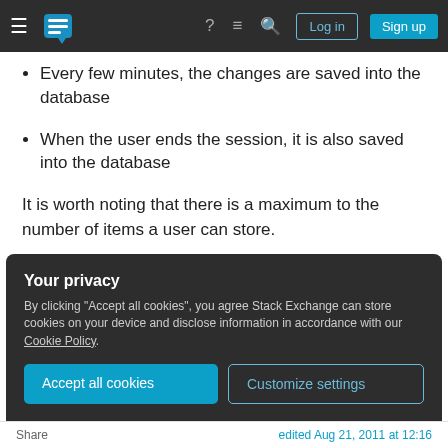Stack Exchange navigation bar with Log in and Sign up buttons
Every few minutes, the changes are saved into the database
When the user ends the session, it is also saved into the database
It is worth noting that there is a maximum to the number of items a user can store.
Are there any alternatives to using a separate table? Perhaps save the values in a formatted text string? Or is this one of the instances where using a
Your privacy
By clicking "Accept all cookies", you agree Stack Exchange can store cookies on your device and disclose information in accordance with our Cookie Policy.
Accept all cookies   Customize settings
Share   edited Aug 21, 2011 at 12:16